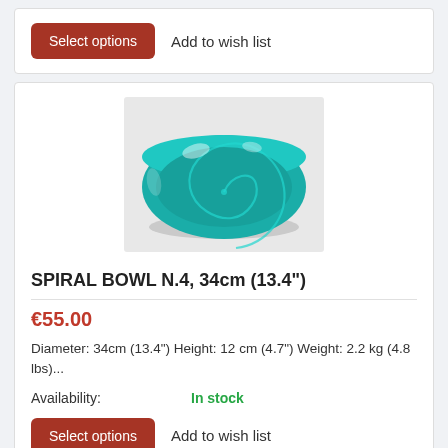Select options   Add to wish list
[Figure (photo): A teal/turquoise ceramic spiral bowl viewed from a slight angle, showing a swirl pattern inside, on a light gray background.]
SPIRAL BOWL N.4, 34cm (13.4")
€55.00
Diameter: 34cm (13.4") Height: 12 cm (4.7") Weight: 2.2 kg (4.8 lbs)...
Availability:   In stock
Select options   Add to wish list